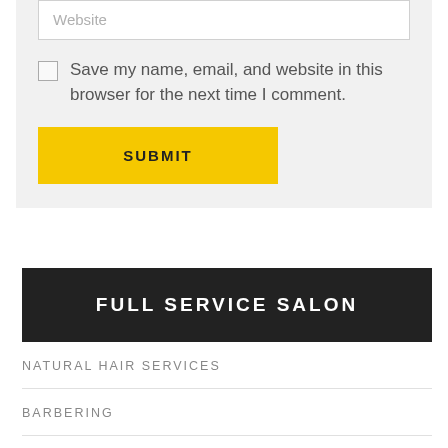Website
Save my name, email, and website in this browser for the next time I comment.
SUBMIT
FULL SERVICE SALON
NATURAL HAIR SERVICES
BARBERING